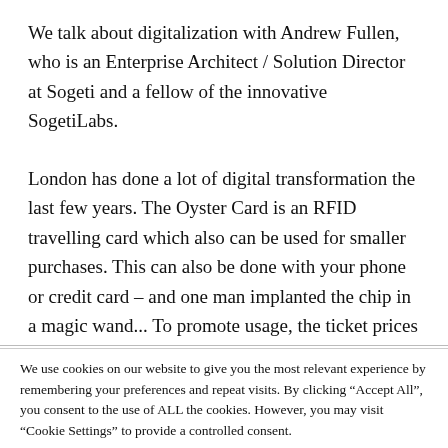We talk about digitalization with Andrew Fullen, who is an Enterprise Architect / Solution Director at Sogeti and a fellow of the innovative SogetiLabs.
London has done a lot of digital transformation the last few years. The Oyster Card is an RFID travelling card which also can be used for smaller purchases. This can also be done with your phone or credit card – and one man implanted the chip in a magic wand... To promote usage, the ticket prices are just a third
We use cookies on our website to give you the most relevant experience by remembering your preferences and repeat visits. By clicking "Accept All", you consent to the use of ALL the cookies. However, you may visit "Cookie Settings" to provide a controlled consent.